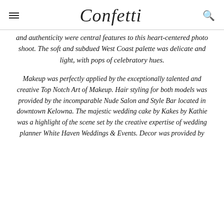Confetti
and authenticity were central features to this heart-centered photo shoot. The soft and subdued West Coast palette was delicate and light, with pops of celebratory hues.
Makeup was perfectly applied by the exceptionally talented and creative Top Notch Art of Makeup. Hair styling for both models was provided by the incomparable Nude Salon and Style Bar located in downtown Kelowna. The majestic wedding cake by Kakes by Kathie was a highlight of the scene set by the creative expertise of wedding planner White Haven Weddings & Events. Decor was provided by